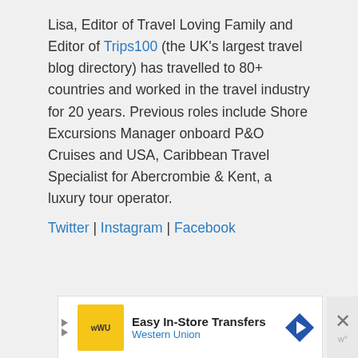Lisa, Editor of Travel Loving Family and Editor of Trips100 (the UK's largest travel blog directory) has travelled to 80+ countries and worked in the travel industry for 20 years. Previous roles include Shore Excursions Manager onboard P&O Cruises and USA, Caribbean Travel Specialist for Abercrombie & Kent, a luxury tour operator.
Twitter | Instagram | Facebook
[Figure (other): Western Union advertisement banner: Easy In-Store Transfers]